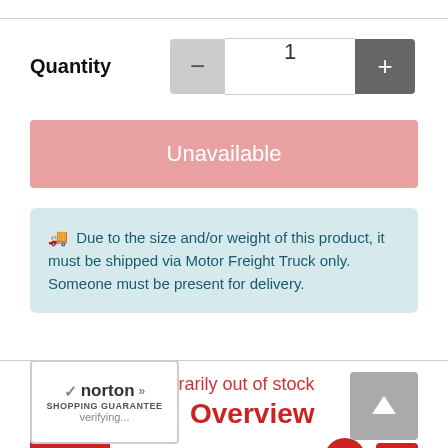Quantity
Unavailable
🚚 Due to the size and/or weight of this product, it must be shipped via Motor Freight Truck only. Someone must be present for delivery.
Availability: Temporarily out of stock
#30837
[Figure (logo): Agri Supply red logo]
[Figure (logo): Norton Shopping Guarantee verifying badge]
Overview